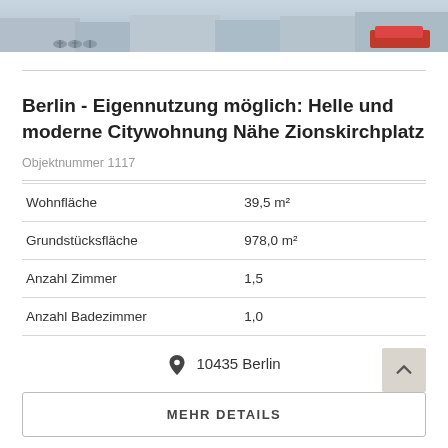[Figure (photo): Street-level photo showing bicycles parked and a red car in an urban setting]
Berlin - Eigennutzung möglich: Helle und moderne Citywohnung Nähe Zionskirchplatz
Objektnummer 1117
| Wohnfläche | 39,5 m² |
| Grundstücksfläche | 978,0 m² |
| Anzahl Zimmer | 1,5 |
| Anzahl Badezimmer | 1,0 |
📍 10435 Berlin
MEHR DETAILS